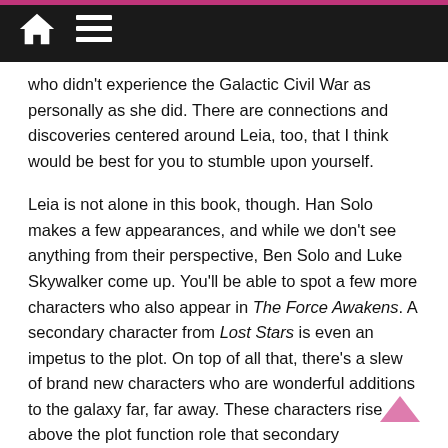Navigation bar with home and menu icons
who didn’t experience the Galactic Civil War as personally as she did. There are connections and discoveries centered around Leia, too, that I think would be best for you to stumble upon yourself.
Leia is not alone in this book, though. Han Solo makes a few appearances, and while we don’t see anything from their perspective, Ben Solo and Luke Skywalker come up. You’ll be able to spot a few more characters who also appear in The Force Awakens. A secondary character from Lost Stars is even an impetus to the plot. On top of all that, there’s a slew of brand new characters who are wonderful additions to the galaxy far, far away. These characters rise above the plot function role that secondary characters sometimes fall prey to; instead they are complex, interesting, whole beings.